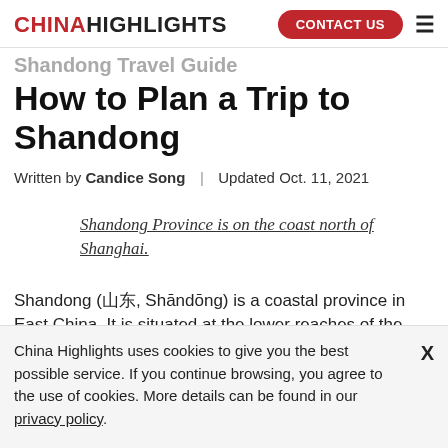CHINAHIGHLIGHTS | CONTACT US
Shandong Travel Guide
How to Plan a Trip to Shandong
Written by Candice Song | Updated Oct. 11, 2021
Shandong Province is on the coast north of Shanghai.
Shandong (山东, Shāndōng) is a coastal province in East China. It is situated at the lower reaches of the Yellow
China Highlights uses cookies to give you the best possible service. If you continue browsing, you agree to the use of cookies. More details can be found in our privacy policy.